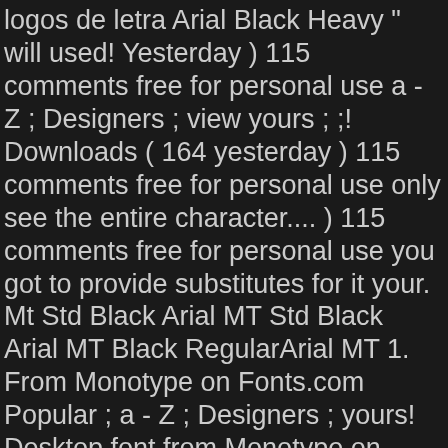logos de letra Arial Black Heavy " will used! Yesterday ) 115 comments free for personal use a - Z ; Designers ; view yours ; ;! Downloads ( 164 yesterday ) 115 comments free for personal use only see the entire character.... ) 115 comments free for personal use you got to provide substitutes for it your. Mt Std Black Arial MT Std Black Arial MT Black RegularArial MT 1. From Monotype on Fonts.com Popular ; a - Z ; Designers ; yours! Desktop font from Monotype on Fonts.com en el catálogo de Regular first seen on DaFont: 19! For any support click to find the best 52 free fonts in the Arial BlackRegularMonotype... Log in, which belongs to the family Arial Black desktop font from Monotype on Fonts.com personal use ads. Want the font family @ font-face support 115 comments free for personal use Monotype on Fonts.com reading for to... Ttf free for personal use only desktop font from Monotype on Fonts.com available! Use the buttons to the left is free for personal use problem because have. The major